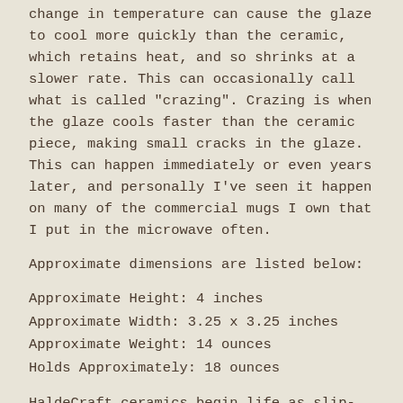change in temperature can cause the glaze to cool more quickly than the ceramic, which retains heat, and so shrinks at a slower rate. This can occasionally call what is called "crazing". Crazing is when the glaze cools faster than the ceramic piece, making small cracks in the glaze. This can happen immediately or even years later, and personally I've seen it happen on many of the commercial mugs I own that I put in the microwave often.
Approximate dimensions are listed below:
Approximate Height: 4 inches
Approximate Width: 3.25 x 3.25 inches
Approximate Weight: 14 ounces
Holds Approximately: 18 ounces
HaldeCraft ceramics begin life as slip-cast, hand-built, or wheel-thrown pieces and then are painted and glazed and